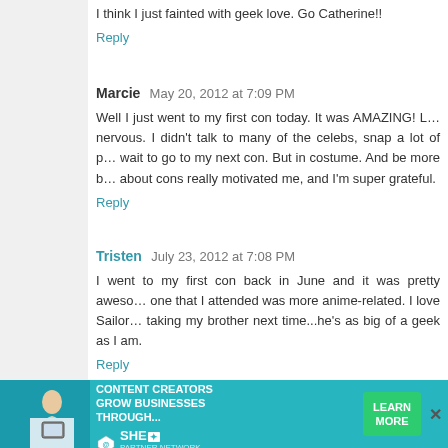I think I just fainted with geek love. Go Catherine!!
Reply
Marcie  May 20, 2012 at 7:09 PM
Well I just went to my first con today. It was AMAZING! L... nervous. I didn't talk to many of the celebs, snap a lot of p... wait to go to my next con. But in costume. And be more b... about cons really motivated me, and I'm super grateful.
Reply
Tristen  July 23, 2012 at 7:08 PM
I went to my first con back in June and it was pretty aweso... one that I attended was more anime-related. I love Sailor... taking my brother next time...he's as big of a geek as I am.
Reply
Kristin  May 5, 2014 at 10:34 AM
I'm going to my first Dallas Comic Con in 2 weeks al... nervous but more excited to do all the things I want...
[Figure (infographic): Teal advertisement bar: 'WE HELP CONTENT CREATORS GROW BUSINESSES THROUGH...' with SHE Partner Network logo and green 'LEARN MORE' button]